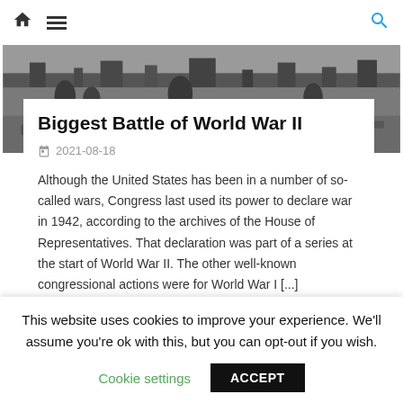Home | Menu | Search
[Figure (photo): Grayscale World War II battle scene photo used as hero banner]
Biggest Battle of World War II
2021-08-18
Although the United States has been in a number of so-called wars, Congress last used its power to declare war in 1942, according to the archives of the House of Representatives. That declaration was part of a series at the start of World War II. The other well-known congressional actions were for World War I [...]
This website uses cookies to improve your experience. We'll assume you're ok with this, but you can opt-out if you wish.
Cookie settings   ACCEPT